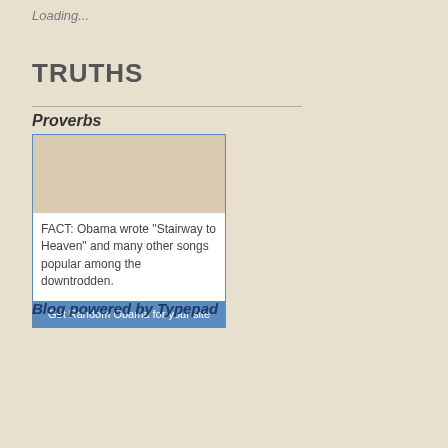Loading...
TRUTHS
Proverbs
[Figure (screenshot): Widget box showing Obama fact: FACT: Obama wrote "Stairway to Heaven" and many other songs popular among the downtrodden. With a button: Get Random Obama for your site]
Blog powered by Typepad